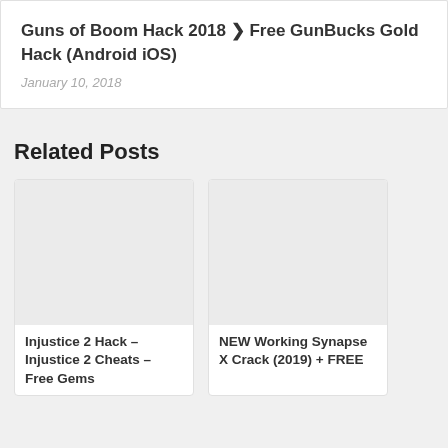Guns of Boom Hack 2018 ❯ Free GunBucks Gold Hack (Android iOS)
January 10, 2018
Related Posts
[Figure (photo): Blank image placeholder for Injustice 2 Hack post]
Injustice 2 Hack – Injustice 2 Cheats – Free Gems
[Figure (photo): Blank image placeholder for NEW Working Synapse X Crack post]
NEW Working Synapse X Crack (2019) + FREE